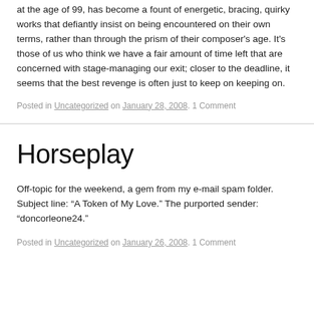at the age of 99, has become a fount of energetic, bracing, quirky works that defiantly insist on being encountered on their own terms, rather than through the prism of their composer's age. It's those of us who think we have a fair amount of time left that are concerned with stage-managing our exit; closer to the deadline, it seems that the best revenge is often just to keep on keeping on.
Posted in Uncategorized on January 28, 2008. 1 Comment
Horseplay
Off-topic for the weekend, a gem from my e-mail spam folder. Subject line: “A Token of My Love.” The purported sender: “doncorleone24.”
Posted in Uncategorized on January 26, 2008. 1 Comment